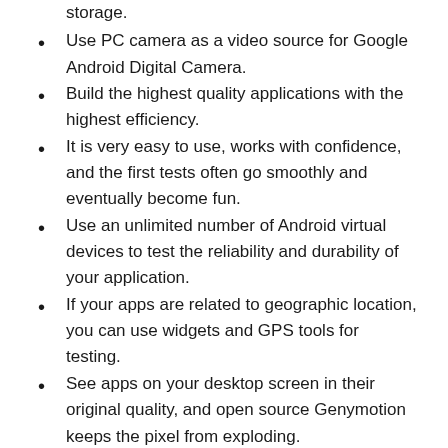storage.
Use PC camera as a video source for Google Android Digital Camera.
Build the highest quality applications with the highest efficiency.
It is very easy to use, works with confidence, and the first tests often go smoothly and eventually become fun.
Use an unlimited number of Android virtual devices to test the reliability and durability of your application.
If your apps are related to geographic location, you can use widgets and GPS tools for testing.
See apps on your desktop screen in their original quality, and open source Genymotion keeps the pixel from exploding.